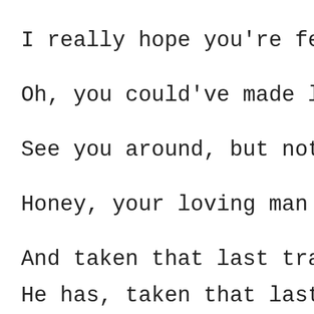I really hope you're fee
Oh, you could've made li
See you around, but not
Honey, your loving man h
And taken that last trai
He has, taken that last